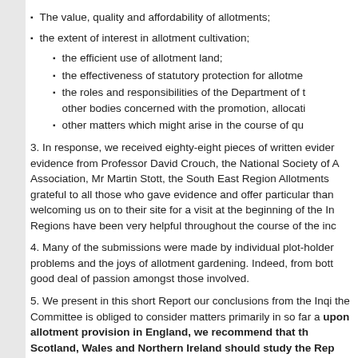The value, quality and affordability of allotments;
the extent of interest in allotment cultivation;
the efficient use of allotment land;
the effectiveness of statutory protection for allotments;
the roles and responsibilities of the Department of the Environment and other bodies concerned with the promotion, allocation and management...
other matters which might arise in the course of questioning;
3. In response, we received eighty-eight pieces of written evidence and oral evidence from Professor David Crouch, the National Society of Allotment and Leisure Gardens Association, Mr Martin Stott, the South East Region Allotments and Leisure Gardens Association. We are grateful to all those who gave evidence and offer particular thanks to the Association for welcoming us on to their site for a visit at the beginning of the Inquiry. The East Midlands Regions have been very helpful throughout the course of the inquiry.
4. Many of the submissions were made by individual plot-holders who described the problems and the joys of allotment gardening. Indeed, from both written and oral evidence there is a good deal of passion amongst those involved.
5. We present in this short Report our conclusions from the Inquiry. We are aware that the Committee is obliged to consider matters primarily in so far as they affect England. upon allotment provision in England, we recommend that the devolved authorities for Scotland, Wales and Northern Ireland should study the Report...
THE VALUE OF ALLOTMENTS
Plot-holders
PRACTICAL VALUE